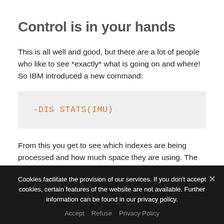Control is in your hands
This is all well and good, but there are a lot of people who like to see *exactly* what is going on and where! So IBM introduced a new command:
From this you get to see which indexes are being processed and how much space they are using. The Daemon also spits out console messages so you can
Cookies facilitate the provision of our services. If you don't accept cookies, certain features of the website are not available. Further information can be found in our privacy policy.
Accept   Refuse   Privacy Policy